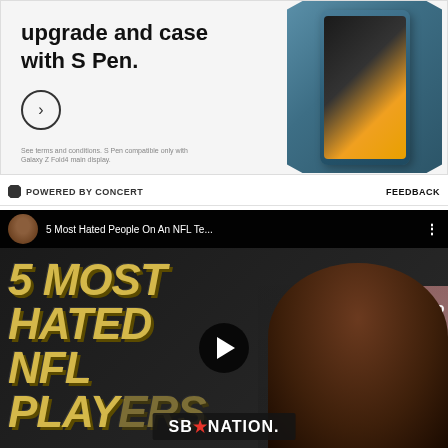[Figure (screenshot): Samsung Galaxy Z Fold4 advertisement showing the phone with S Pen case]
upgrade and case with S Pen.
See terms and conditions. S Pen compatible only with Galaxy Z Fold4 main display.
POWERED BY CONCERT
FEEDBACK
[Figure (screenshot): YouTube video thumbnail for '5 Most Hated People On An NFL Te...' on SB Nation channel, showing a man in a suit with bold yellow text reading '5 MOST HATED NFL PLAYERS' and the SB Nation logo at the bottom]